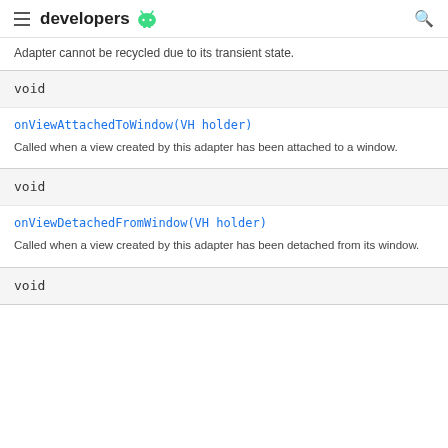developers
Adapter cannot be recycled due to its transient state.
void
onViewAttachedToWindow(VH holder)
Called when a view created by this adapter has been attached to a window.
void
onViewDetachedFromWindow(VH holder)
Called when a view created by this adapter has been detached from its window.
void